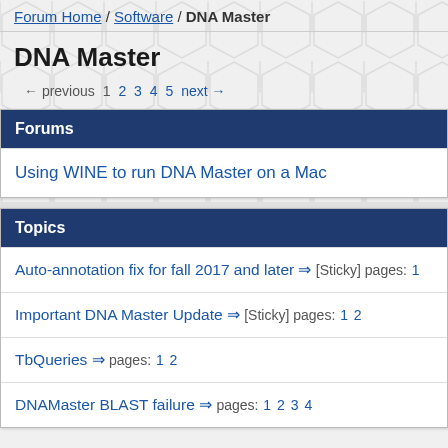Forum Home / Software / DNA Master
DNA Master
← previous  1  2  3  4  5  next →
Forums
Using WINE to run DNA Master on a Mac
Topics
Auto-annotation fix for fall 2017 and later ⇒ [Sticky] pages: 1
Important DNA Master Update ⇒ [Sticky] pages: 1 2
TbQueries ⇒ pages: 1 2
DNAMaster BLAST failure ⇒ pages: 1 2 3 4